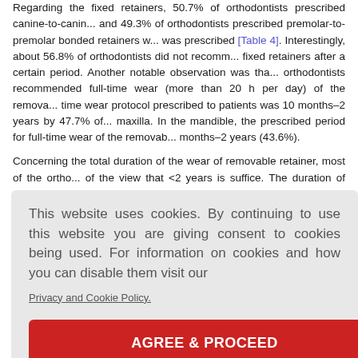Regarding the fixed retainers, 50.7% of orthodontists prescribed canine-to-canine and 49.3% of orthodontists prescribed premolar-to-premolar bonded retainers w... was prescribed [Table 4]. Interestingly, about 56.8% of orthodontists did not recomm... fixed retainers after a certain period. Another notable observation was tha... orthodontists recommended full-time wear (more than 20 h per day) of the remova... time wear protocol prescribed to patients was 10 months–2 years by 47.7% of... maxilla. In the mandible, the prescribed period for full-time wear of the removab... months–2 years (43.6%).
Concerning the total duration of the wear of removable retainer, most of the ortho... of the view that <2 years is suffice. The duration of more than 5 years was presc... The duration of the fixed retainer wear preferred by most of the orthodontists (4... d retainers ... of retention... retention,... and more... ew Zealand.
...ost of the o... r retention... ntage of pa... , the relaps...
Most of the orthodontists fabricated the retainer in the commercial laboratory...